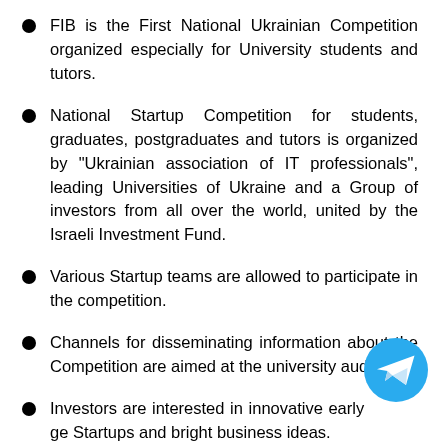FIB is the First National Ukrainian Competition organized especially for University students and tutors.
National Startup Competition for students, graduates, postgraduates and tutors is organized by "Ukrainian association of IT professionals", leading Universities of Ukraine and a Group of investors from all over the world, united by the Israeli Investment Fund.
Various Startup teams are allowed to participate in the competition.
Channels for disseminating information about the Competition are aimed at the university audience.
Investors are interested in innovative early stage Startups and bright business ideas.
Such startups occur the most often in the university's